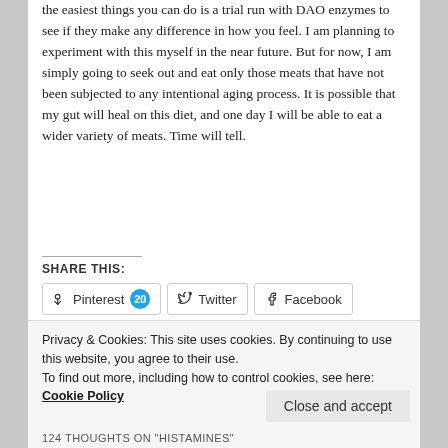the easiest things you can do is a trial run with DAO enzymes to see if they make any difference in how you feel. I am planning to experiment with this myself in the near future. But for now, I am simply going to seek out and eat only those meats that have not been subjected to any intentional aging process. It is possible that my gut will heal on this diet, and one day I will be able to eat a wider variety of meats. Time will tell.
SHARE THIS:
[Figure (other): Share buttons for Pinterest (with badge 20), Twitter, and Facebook]
Privacy & Cookies: This site uses cookies. By continuing to use this website, you agree to their use. To find out more, including how to control cookies, see here: Cookie Policy
Close and accept
124 THOUGHTS ON "HISTAMINES"